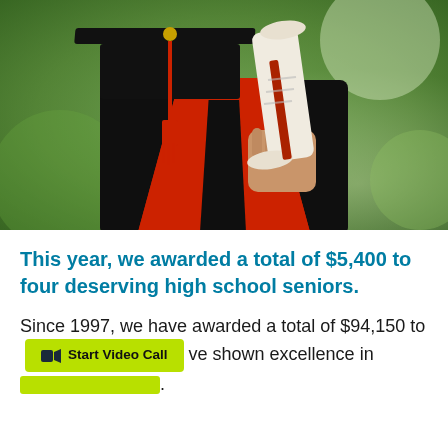[Figure (photo): A person in a black graduation gown with red collar/stole and mortarboard cap with red tassel, holding a rolled diploma, photographed against a blurred green outdoor background.]
This year, we awarded a total of $5,400 to four deserving high school seniors.
Since 1997, we have awarded a total of $94,150 to [Start Video Call button overlay] ve shown excellence in [cut off]